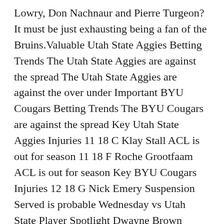Lowry, Don Nachnaur and Pierre Turgeon?It must be just exhausting being a fan of the Bruins.Valuable Utah State Aggies Betting Trends The Utah State Aggies are against the spread The Utah State Aggies are against the over under Important BYU Cougars Betting Trends The BYU Cougars are against the spread Key Utah State Aggies Injuries 11 18 C Klay Stall ACL is out for season 11 18 F Roche Grootfaam ACL is out for season Key BYU Cougars Injuries 12 18 G Nick Emery Suspension Served is probable Wednesday vs Utah State Player Spotlight Dwayne Brown Jr.Portland Trail Blazers Title Odds: +5000 West Conference Odds: +2500 Portland has two great players in LaMarcus Aldridge and Damian Lillard, but just making the playoffs will be more than enough for the team.
So, if the Yankees decided to pony up the money in order to sign Machado, you might be wondering